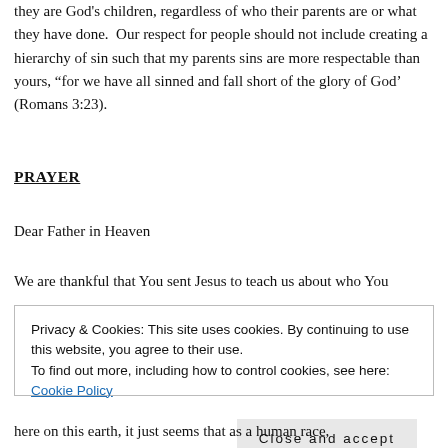We need to be mindful that we seek to love people because they are God's children, regardless of who their parents are or what they have done.  Our respect for people should not include creating a hierarchy of sin such that my parents sins are more respectable than yours, “for we have all sinned and fall short of the glory of God’ (Romans 3:23).
PRAYER
Dear Father in Heaven
We are thankful that You sent Jesus to teach us about who You
Privacy & Cookies: This site uses cookies. By continuing to use this website, you agree to their use.
To find out more, including how to control cookies, see here: Cookie Policy
here on this earth, it just seems that as a human race,